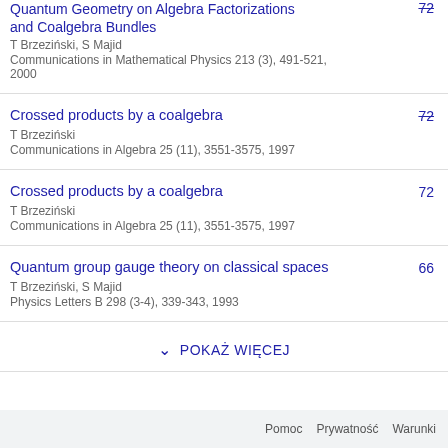Quantum Geometry on Algebra Factorizations and Coalgebra Bundles
T Brzeziński, S Majid
Communications in Mathematical Physics 213 (3), 491-521, 2000
[citation: 72]
Crossed products by a coalgebra
T Brzeziński
Communications in Algebra 25 (11), 3551-3575, 1997
[citation: 72]
Crossed products by a coalgebra
T Brzeziński
Communications in Algebra 25 (11), 3551-3575, 1997
[citation: 72]
Quantum group gauge theory on classical spaces
T Brzeziński, S Majid
Physics Letters B 298 (3-4), 339-343, 1993
[citation: 66]
POKAŻ WIĘCEJ
Pomoc  Prywatność  Warunki